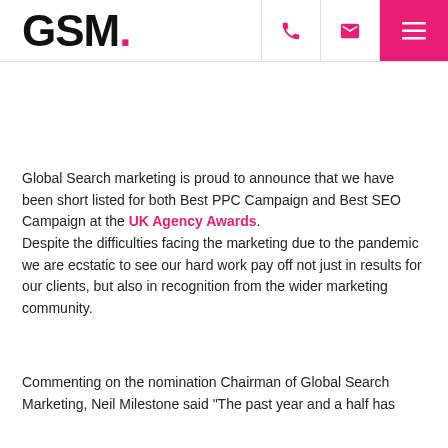GSM.
Global Search marketing is proud to announce that we have been short listed for both Best PPC Campaign and Best SEO Campaign at the UK Agency Awards. Despite the difficulties facing the marketing due to the pandemic we are ecstatic to see our hard work pay off not just in results for our clients, but also in recognition from the wider marketing community.
Commenting on the nomination Chairman of Global Search Marketing, Neil Milestone said "The past year and a half has